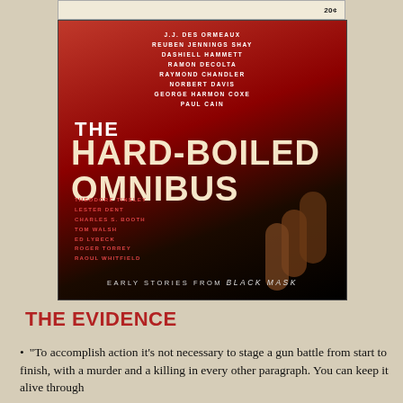[Figure (photo): Top strip showing partial book cover with price '20c' visible]
[Figure (photo): Book cover of 'The Hard-Boiled Omnibus: Early Stories from Black Mask', featuring authors including J.J. des Ormeaux, Reuben Jennings Shay, Dashiell Hammett, Ramon Decolta, Raymond Chandler, Norbert Davis, George Harmon Coxe, Paul Cain, Theodore Tinsley, Lester Dent, Charles S. Booth, Tom Walsh, Ed Lybeck, Roger Torrey, Raoul Whitfield. Red and black dramatic cover with arched doorways.]
THE EVIDENCE
“To accomplish action it’s not necessary to stage a gun battle from start to finish, with a murder and a killing in every other paragraph. You can keep it alive through